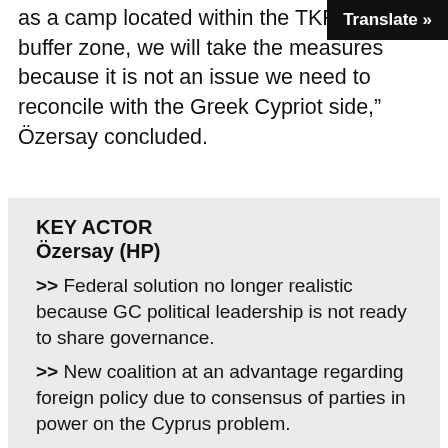as a camp located within the TKF the buffer zone, we will take the measures because it is not an issue we need to reconcile with the Greek Cypriot side,” Özersay concluded.
KEY ACTOR
Özersay (HP)
>> Federal solution no longer realistic because GC political leadership is not ready to share governance.
>> New coalition at an advantage regarding foreign policy due to consensus of parties in power on the Cyprus problem.